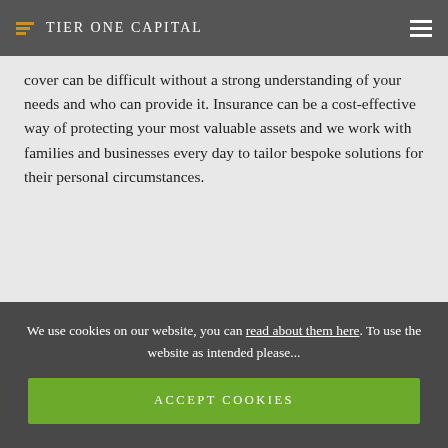Tier One Capital
cover can be difficult without a strong understanding of your needs and who can provide it. Insurance can be a cost-effective way of protecting your most valuable assets and we work with families and businesses every day to tailor bespoke solutions for their personal circumstances.
WEALTH MANAGEMENT TEAM
We use cookies on our website, you can read about them here. To use the website as intended please...
ACCEPT COOKIES